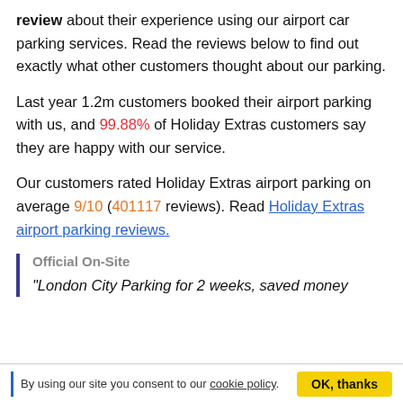review about their experience using our airport car parking services. Read the reviews below to find out exactly what other customers thought about our parking.
Last year 1.2m customers booked their airport parking with us, and 99.88% of Holiday Extras customers say they are happy with our service.
Our customers rated Holiday Extras airport parking on average 9/10 (401117 reviews). Read Holiday Extras airport parking reviews.
Official On-Site
“London City Parking for 2 weeks, saved money
By using our site you consent to our cookie policy. OK, thanks